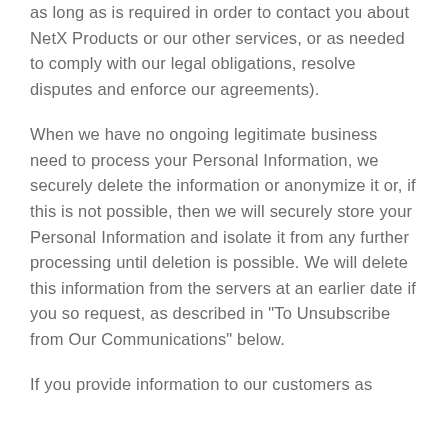as long as is required in order to contact you about NetX Products or our other services, or as needed to comply with our legal obligations, resolve disputes and enforce our agreements).
When we have no ongoing legitimate business need to process your Personal Information, we securely delete the information or anonymize it or, if this is not possible, then we will securely store your Personal Information and isolate it from any further processing until deletion is possible. We will delete this information from the servers at an earlier date if you so request, as described in "To Unsubscribe from Our Communications" below.
If you provide information to our customers as